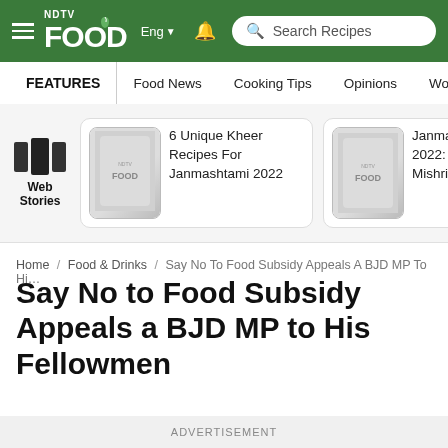NDTV Food | Eng | Search Recipes
FEATURES | Food News | Cooking Tips | Opinions | World Cuisin...
[Figure (screenshot): Web Stories section with two story cards: '6 Unique Kheer Recipes For Janmashtami 2022' and 'Janmashtami 2022: Mak... Mishri Re...']
Home / Food & Drinks / Say No To Food Subsidy Appeals A BJD MP To Hi...
Say No to Food Subsidy Appeals a BJD MP to His Fellowmen
ADVERTISEMENT